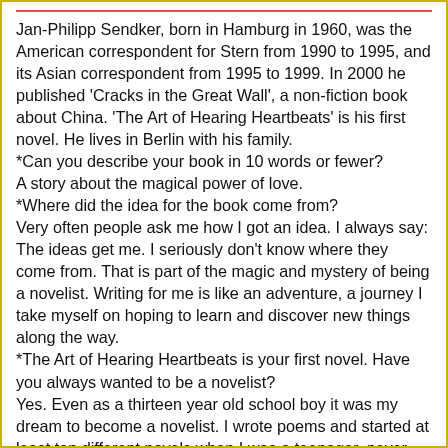Jan-Philipp Sendker, born in Hamburg in 1960, was the American correspondent for Stern from 1990 to 1995, and its Asian correspondent from 1995 to 1999. In 2000 he published 'Cracks in the Great Wall', a non-fiction book about China. 'The Art of Hearing Heartbeats' is his first novel. He lives in Berlin with his family.
*Can you describe your book in 10 words or fewer?
A story about the magical power of love.
*Where did the idea for the book come from?
Very often people ask me how I got an idea. I always say: The ideas get me. I seriously don't know where they come from. That is part of the magic and mystery of being a novelist. Writing for me is like an adventure, a journey I take myself on hoping to learn and discover new things along the way.
*The Art of Hearing Heartbeats is your first novel. Have you always wanted to be a novelist?
Yes. Even as a thirteen year old school boy it was my dream to become a novelist. I wrote poems and started at least ten different novels when I was a teenager, never got beyond page 20. Discouraged I took a break for almost twenty years and started writing The Art of Hearing Heartbeats when I was 37 years old.